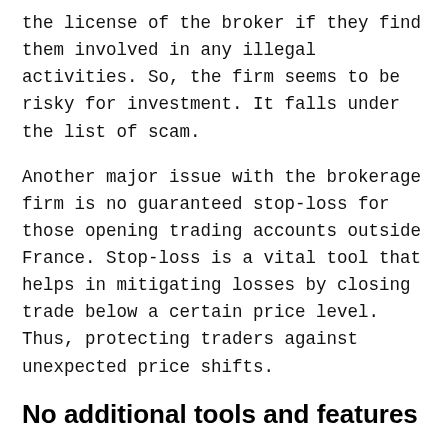the license of the broker if they find them involved in any illegal activities. So, the firm seems to be risky for investment. It falls under the list of scam.
Another major issue with the brokerage firm is no guaranteed stop-loss for those opening trading accounts outside France. Stop-loss is a vital tool that helps in mitigating losses by closing trade below a certain price level. Thus, protecting traders against unexpected price shifts.
No additional tools and features
The financial service provider does not offer any additional tools and features such as social trading. Also, automated or bot trading and the back-testing feature is available